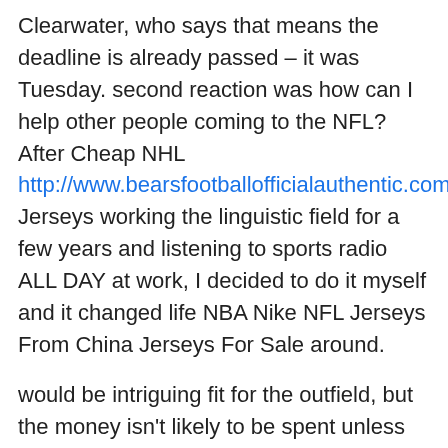Clearwater, who says that means the deadline is already passed – it was Tuesday. second reaction was how can I help other people coming to the NFL? After Cheap NHL http://www.bearsfootballofficialauthentic.com/YOUTH+JON Jerseys working the linguistic field for a few years and listening to sports radio ALL DAY at work, I decided to do it myself and it changed life NBA Nike NFL Jerseys From China Jerseys For Sale around.
would be intriguing fit for the outfield, but the money isn't likely to be spent unless Sandoval goes somewhere . He has also organized events for Alzheimer's research, like slow-pitch softball tournaments St. Contact Us Minas Panagiotakis, Getty Images Another Bismarck Bobcats alum is headed to the NHL, after the Dallas Stars made forward Roope Hintz the 49th pick this year's NHL Draft. We'll , but obviously details are coming by the minute.